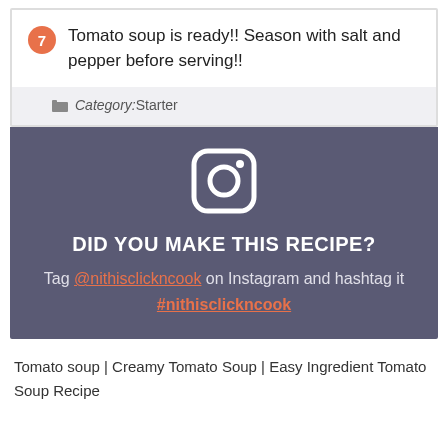7 Tomato soup is ready!! Season with salt and pepper before serving!!
Category: Starter
[Figure (logo): Instagram logo icon in white outline on dark gray/purple background]
DID YOU MAKE THIS RECIPE?
Tag @nithisclickncook on Instagram and hashtag it #nithisclickncook
Tomato soup | Creamy Tomato Soup | Easy Ingredient Tomato Soup Recipe